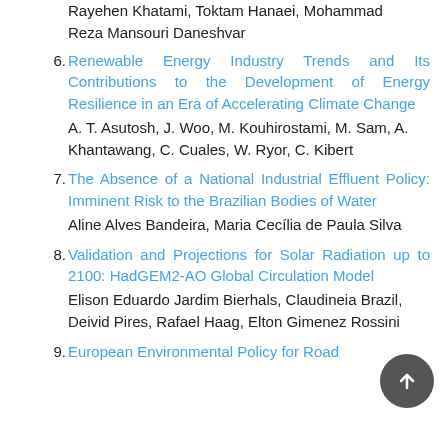Rayehen Khatami, Toktam Hanaei, Mohammad Reza Mansouri Daneshvar
6. Renewable Energy Industry Trends and Its Contributions to the Development of Energy Resilience in an Era of Accelerating Climate Change
A. T. Asutosh, J. Woo, M. Kouhirostami, M. Sam, A. Khantawang, C. Cuales, W. Ryor, C. Kibert
7. The Absence of a National Industrial Effluent Policy: Imminent Risk to the Brazilian Bodies of Water
Aline Alves Bandeira, Maria Cecília de Paula Silva
8. Validation and Projections for Solar Radiation up to 2100: HadGEM2-AO Global Circulation Model
Elison Eduardo Jardim Bierhals, Claudineia Brazil, Deivid Pires, Rafael Haag, Elton Gimenez Rossini
9. European Environmental Policy for Road